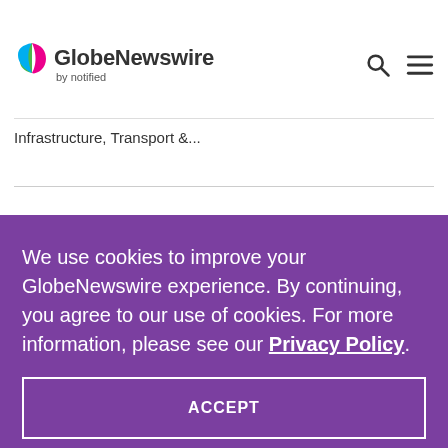[Figure (logo): GlobeNewswire by notified logo with colorful leaf/wing icon]
Infrastructure, Transport &...
We use cookies to improve your GlobeNewswire experience. By continuing, you agree to our use of cookies. For more information, please see our Privacy Policy.
ACCEPT